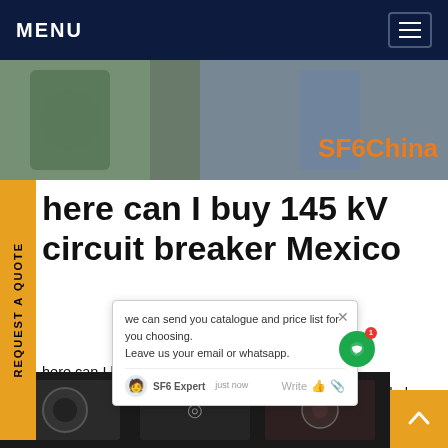MENU
[Figure (photo): Industrial equipment photo with SF6China branding in orange text]
here can I buy 145 kV circuit breaker Mexico
[Figure (screenshot): Chat popup overlay: 'we can send you catalogue and price list for you choosing. Leave us your email or whatsapp.' with SF6 Expert, just now, Write options and green chat icon with notification badge]
here can I buy 145 kv circuit breaker Mexico. The (Disconnecting Circuit Breaker) is a circuit breaker and also as a disconnect switch, with both functions combined in one device. An additional air-insulated earthing switch can be mounted onto the supporting structure for voltages up to 145 kV.Get price
[Figure (photo): Dark industrial equipment photos at the bottom of the page]